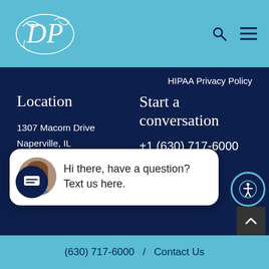[Figure (logo): Decorative script logo initials on teal navigation bar]
HIPAA Privacy Policy
Location
1307 Macom Drive
Naperville, IL
Start a conversation
+1 (630) 717-6000
[Figure (screenshot): Chat popup card with avatar photo of woman and text: Hi there, have a question? Text us here.]
gery & Laser
ic surgery
dures, including breast augmentation, brea
t, breast reduction, tummy tuck, liposuction,
(630) 717-6000  /  Contact Us